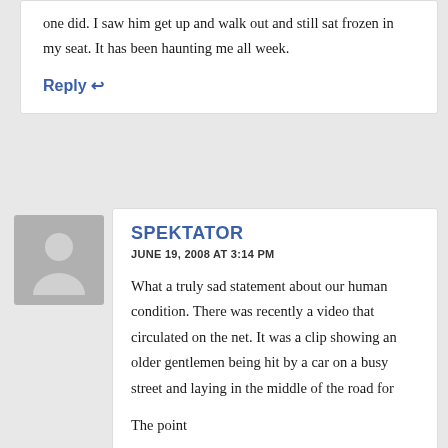one did. I saw him get up and walk out and still sat frozen in my seat. It has been haunting me all week.
Reply ↩
SPEKTATOR
JUNE 19, 2008 AT 3:14 PM
What a truly sad statement about our human condition. There was recently a video that circulated on the net. It was a clip showing an older gentlemen being hit by a car on a busy street and laying in the middle of the road for quite a while before someone came out to help him. Are we past caring?
The point…